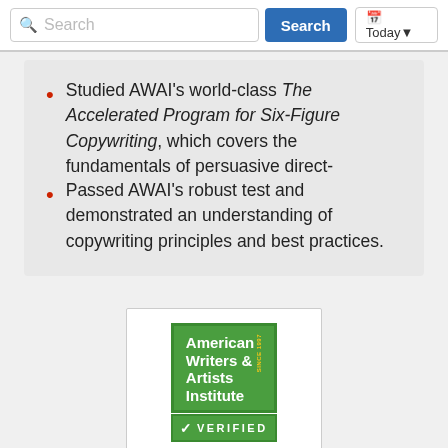Search | Search | Today
Studied AWAI's world-class The Accelerated Program for Six-Figure Copywriting, which covers the fundamentals of persuasive direct-response copy.
Passed AWAI's robust test and demonstrated an understanding of copywriting principles and best practices.
[Figure (logo): American Writers & Artists Institute VERIFIED logo — green box with white bold text showing organization name and 'SINCE 1997', with a green VERIFIED badge below containing a checkmark]